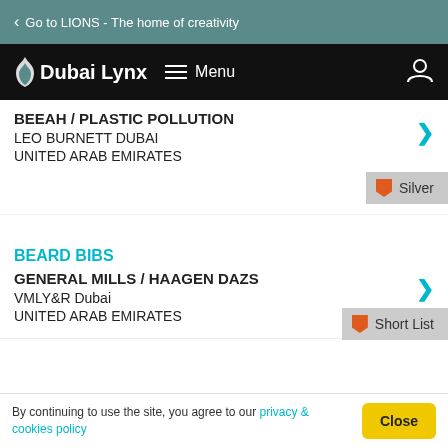Go to LIONS - The home of creativity
Dubai Lynx  Menu
BEEAH / PLASTIC POLLUTION
LEO BURNETT DUBAI
UNITED ARAB EMIRATES
Silver
BEARD BIBS
GENERAL MILLS / HAAGEN DAZS
VMLY&R Dubai
UNITED ARAB EMIRATES
Short List
By continuing to use the site, you agree to our privacy & cookies policy  Close